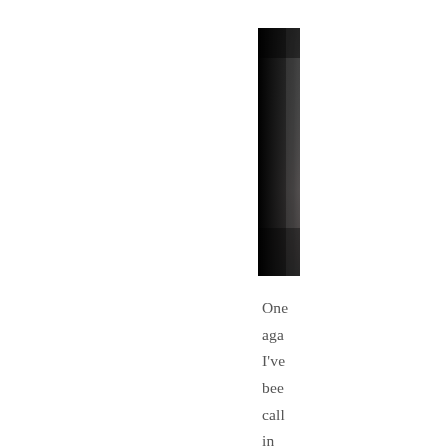[Figure (photo): A tall narrow vertical black bar or stripe, resembling a spine or binding edge of a book/document, fading from dark at top and bottom to slightly lighter in the middle.]
One again I've been call in for Jury